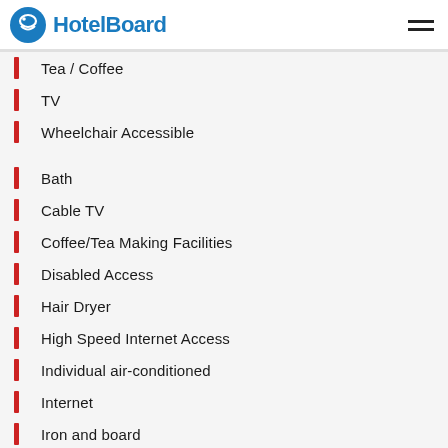HotelBoard
Tea / Coffee
TV
Wheelchair Accessible
Bath
Cable TV
Coffee/Tea Making Facilities
Disabled Access
Hair Dryer
High Speed Internet Access
Individual air-conditioned
Internet
Iron and board
Mini bar
Private Bath
Safe
Shower
Telephone + Voice Mail